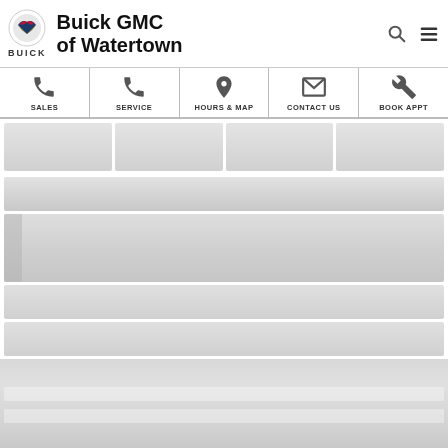Buick GMC of Watertown
[Figure (logo): Buick logo circle with BUICK text below]
[Figure (infographic): Navigation bar with icons: Sales (phone), Service (phone), Hours & Map (map pin), Contact Us (envelope), Book Appt (wrench)]
[Figure (screenshot): Loading skeleton placeholder content area with gray gradient blocks simulating page content loading state]